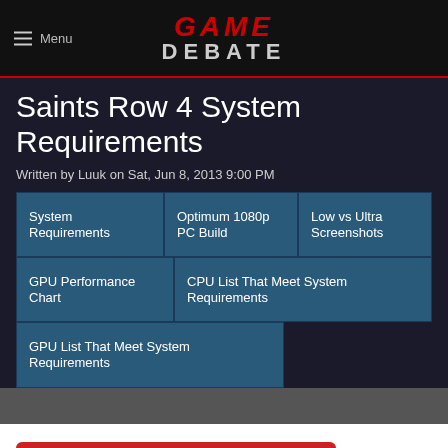Game Debate
Saints Row 4 System Requirements
Written by Luuk on Sat, Jun 8, 2013 9:00 PM
System Requirements
Optimum 1080p PC Build
Low vs Ultra Screenshots
GPU Performance Chart
CPU List That Meet System Requirements
GPU List That Meet System Requirements
Jump to comments (156)